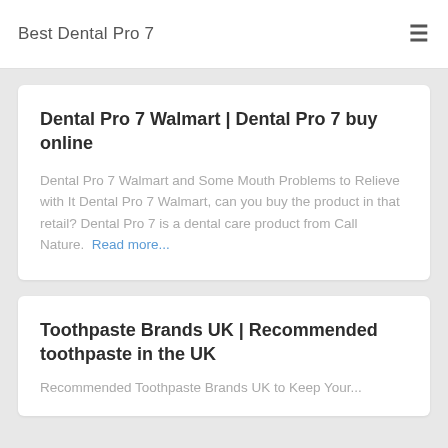Best Dental Pro 7
Dental Pro 7 Walmart | Dental Pro 7 buy online
Dental Pro 7 Walmart and Some Mouth Problems to Relieve with It Dental Pro 7 Walmart, can you buy the product in that retail? Dental Pro 7 is a dental care product from Call Nature. Read more...
Toothpaste Brands UK | Recommended toothpaste in the UK
Recommended Toothpaste Brands UK to Keep Your...